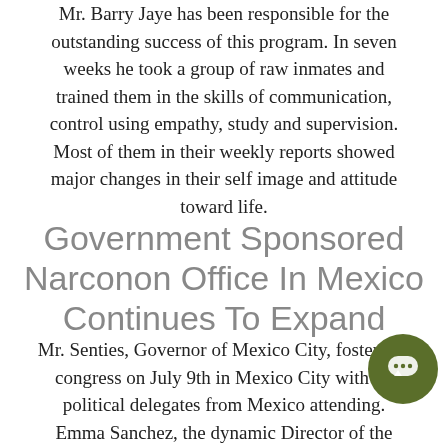Mr. Barry Jaye has been responsible for the outstanding success of this program. In seven weeks he took a group of raw inmates and trained them in the skills of communication, control using empathy, study and supervision. Most of them in their weekly reports showed major changes in their self image and attitude toward life.
Government Sponsored Narconon Office In Mexico Continues To Expand
Mr. Senties, Governor of Mexico City, fostered a congress on July 9th in Mexico City with all political delegates from Mexico attending. Emma Sanchez, the dynamic Director of the Narconon Office in which is sponsored by the Mexican Government, prepared a paper which was presented on Narconon